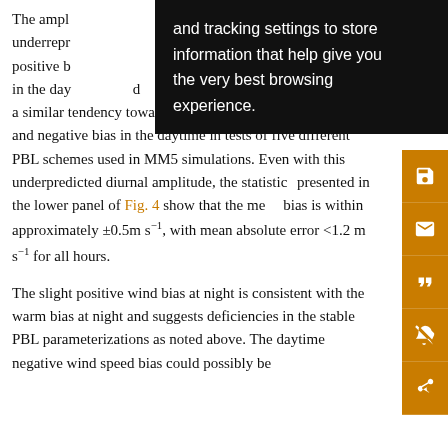The amplitude of the diurnal cycle is underrepresented, leading to a positive bias at night and negative bias in the daytime, found a similar tendency toward positive wind speed bias at night and negative bias in the daytime in tests of five different PBL schemes used in MM5 simulations. Even with this underpredicted diurnal amplitude, the statistics presented in the lower panel of Fig. 4 show that the mean bias is within approximately ±0.5m s⁻¹, with mean absolute error <1.2 m s⁻¹ for all hours.
The slight positive wind bias at night is consistent with the warm bias at night and suggests deficiencies in the stable PBL parameterizations as noted above. The daytime negative wind speed bias could possibly be